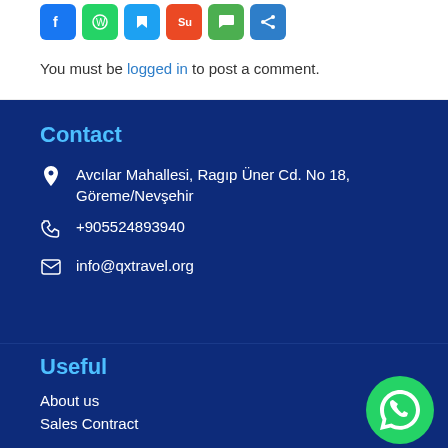[Figure (other): Social sharing icon buttons: Facebook (blue), WhatsApp (green), Twitter/bookmark (blue), Stumbleupon (orange), chat (green), share (blue)]
You must be logged in to post a comment.
Contact
📍  Avcılar Mahallesi, Ragıp Üner Cd. No 18, Göreme/Nevşehir
📞  +905524893940
✉  info@qxtravel.org
Useful
About us
Sales Contract